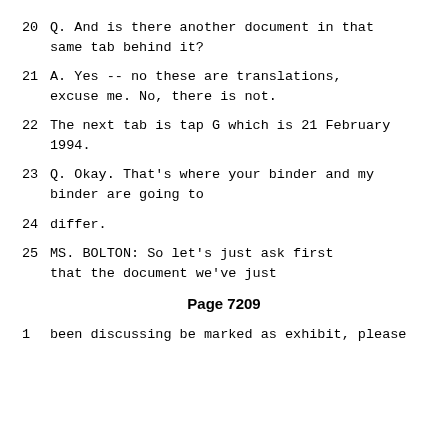20        Q.   And is there another document in that same tab behind it?
21        A.   Yes -- no these are translations, excuse me.  No, there is not.
22      The next tab is tap G which is 21 February 1994.
23        Q.   Okay.  That's where your binder and my binder are going to
24      differ.
25              MS. BOLTON:  So let's just ask first that the document we've just
Page 7209
1       been discussing be marked as exhibit, please